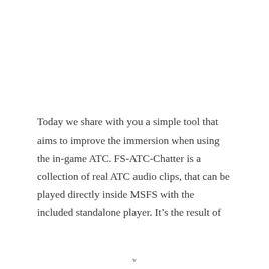Today we share with you a simple tool that aims to improve the immersion when using the in-game ATC. FS-ATC-Chatter is a collection of real ATC audio clips, that can be played directly inside MSFS with the included standalone player. It's the result of
v